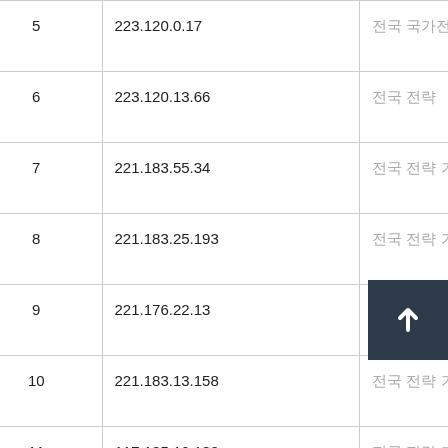| # | IP | Location | ASN | Latency |
| --- | --- | --- | --- | --- |
| 5 | 223.120.0.17 | [redacted] | AS58453 | 38.94 ms |
| 6 | 223.120.13.66 | [redacted] | AS58453 | 269.83 ms |
| 7 | 221.183.55.34 | [redacted] | AS9808 | 237.66 ms |
| 8 | 221.183.25.193 | [redacted] | AS9808 | 277.56 ms |
| 9 | 221.176.22.13 | [redacted] | AS9808 | 272.14 ms |
| 10 | 221.183.13.158 | [redacted] | AS9808 | 265.81 ms |
| 11 | 117.185.10.130 | [redacted] | AS9808 | 245.07 ms |
| 12 | 120.204.198.131 | [redacted] | AS9808 | [button].03 ms |
| 13 | 120.204.198.146 | [redacted] | AS9808 | 259.65 ms |